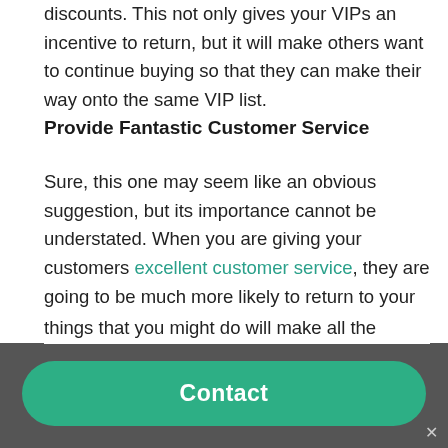discounts. This not only gives your VIPs an incentive to return, but it will make others want to continue buying so that they can make their way onto the same VIP list.
Provide Fantastic Customer Service
Sure, this one may seem like an obvious suggestion, but its importance cannot be understated. When you are giving your customers excellent customer service, they are going to be much more likely to return to your site as they know how much of a seamless experience it is. Regardless of how good your product is, people aren't going to return to
things that you might do will make all the